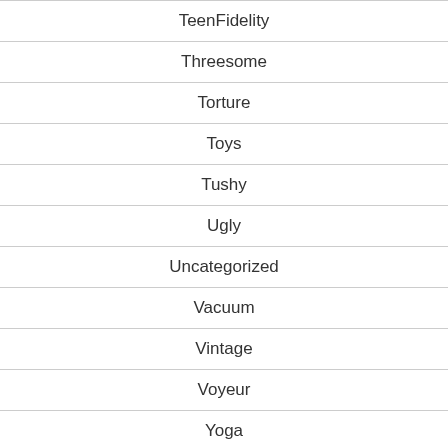TeenFidelity
Threesome
Torture
Toys
Tushy
Ugly
Uncategorized
Vacuum
Vintage
Voyeur
Yoga